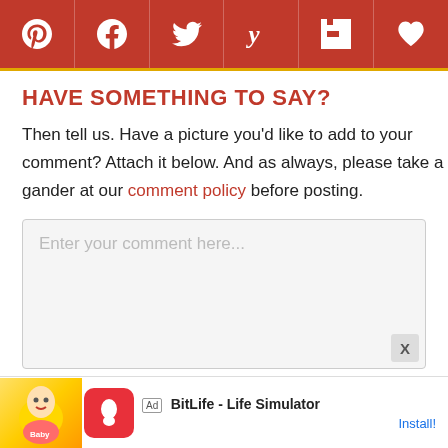[Figure (infographic): Social media sharing buttons bar: Pinterest, Facebook, Twitter, Yummly, Flipboard, Favorites/Heart icons on dark red background]
HAVE SOMETHING TO SAY?
Then tell us. Have a picture you'd like to add to your comment? Attach it below. And as always, please take a gander at our comment policy before posting.
[Figure (screenshot): Comment input text area with placeholder text: Enter your comment here...]
[Figure (infographic): Ad banner at bottom: BitLife - Life Simulator app advertisement with Install button]